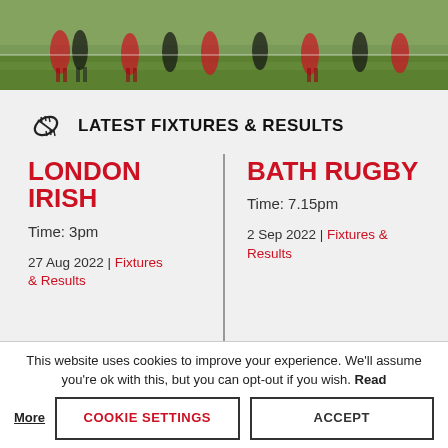[Figure (photo): Aerial/sideline photo of rugby players on a green pitch during a match]
LATEST FIXTURES & RESULTS
LONDON IRISH
Time: 3pm
27 Aug 2022 | Fixtures & Results
BATH RUGBY
Time: 7.15pm
2 Sep 2022 | Fixtures & Results
This website uses cookies to improve your experience. We'll assume you're ok with this, but you can opt-out if you wish. Read More
COOKIE SETTINGS
ACCEPT